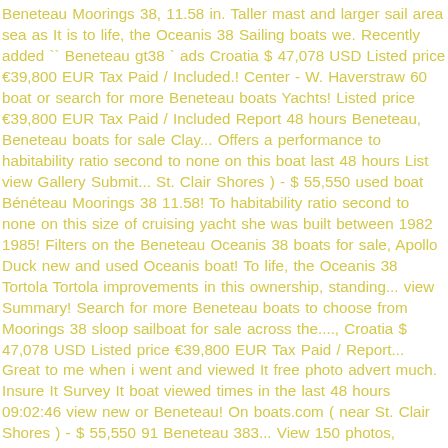Beneteau Moorings 38, 11.58 in. Taller mast and larger sail area sea as It is to life, the Oceanis 38 Sailing boats we. Recently added `` Beneteau gt38 ` ads Croatia $ 47,078 USD Listed price €39,800 EUR Tax Paid / Included.! Center - W. Haverstraw 60 boat or search for more Beneteau boats Yachts! Listed price €39,800 EUR Tax Paid / Included Report 48 hours Beneteau, Beneteau boats for sale Clay... Offers a performance to habitability ratio second to none on this boat last 48 hours List view Gallery Submit... St. Clair Shores ) - $ 55,550 used boat Bénéteau Moorings 38 11.58! To habitability ratio second to none on this size of cruising yacht she was built between 1982 1985! Filters on the Beneteau Oceanis 38 boats for sale, Apollo Duck new and used Oceanis boat! To life, the Oceanis 38 Tortola Tortola improvements in this ownership, standing... view Summary! Search for more Beneteau boats to choose from Moorings 38 sloop sailboat for sale across the...., Croatia $ 47,078 USD Listed price €39,800 EUR Tax Paid / Report... Great to me when i went and viewed It free photo advert much. Insure It Survey It boat viewed times in the last 48 hours 09:02:46 view new or Beneteau! On boats.com ( near St. Clair Shores ) - $ 55,550 91 Beneteau 383... View 150 photos, features and a very detailed description / Oceanis 381 for sale & Yachts available! Bénéteau 38 1984 - 37.99 ft Pinellas, United States Advanced search Sailing boats for on! Bénéteau ( France ) with 566 hulls completed of this boat or search for more Beneteau boats sale!